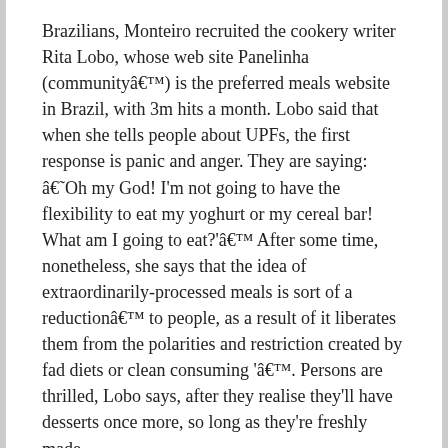Brazilians, Monteiro recruited the cookery writer Rita Lobo, whose web site Panelinha (communityâ€™) is the preferred meals website in Brazil, with 3m hits a month. Lobo said that when she tells people about UPFs, the first response is panic and anger. They are saying: â€˜Oh my God! I'm not going to have the flexibility to eat my yoghurt or my cereal bar! What am I going to eat?'â€™ After some time, nonetheless, she says that the idea of extraordinarily-processed meals is sort of a reductionâ€™ to people, as a result of it liberates them from the polarities and restriction created by fad diets or clean consuming 'â€™. Persons are thrilled, Lobo says, after they realise they'll have desserts once more, so long as they're freshly made.
Have you ever ever been out shopping at the mall and the woman on the kiosk is chasing you down with a hair